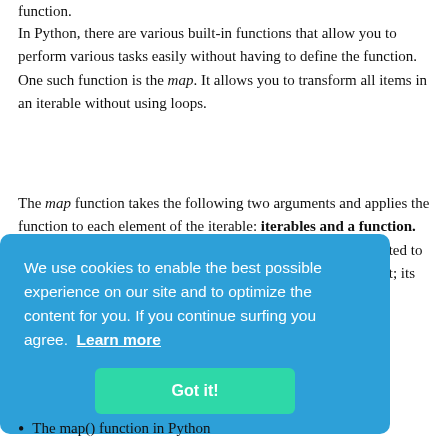function.
In Python, there are various built-in functions that allow you to perform various tasks easily without having to define the function. One such function is the map. It allows you to transform all items in an iterable without using loops.
The map function takes the following two arguments and applies the function to each element of the iterable: iterables and a function. The return value [partially obscured] rator [partially obscured] ilt-in [partially obscured] its [partially obscured] es for
[Figure (screenshot): Cookie consent banner overlay in blue (#2da0d8) with text: 'We use cookies to enable the best possible experience on our site and to optimize the content for you. If you continue surfing you agree. Learn more' and a green 'Got it!' button.]
The map() function in Python